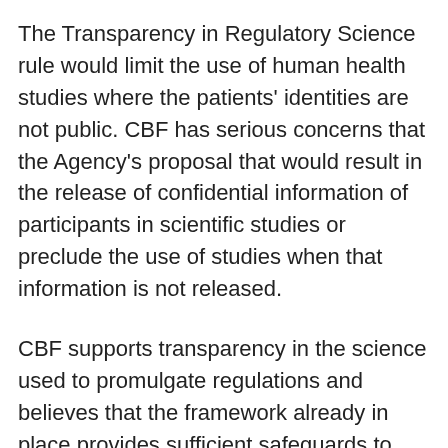The Transparency in Regulatory Science rule would limit the use of human health studies where the patients' identities are not public. CBF has serious concerns that the Agency's proposal that would result in the release of confidential information of participants in scientific studies or preclude the use of studies when that information is not released.
CBF supports transparency in the science used to promulgate regulations and believes that the framework already in place provides sufficient safeguards to ensure that the scientific